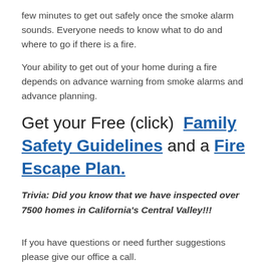few minutes to get out safely once the smoke alarm sounds. Everyone needs to know what to do and where to go if there is a fire.
Your ability to get out of your home during a fire depends on advance warning from smoke alarms and advance planning.
Get your Free (click) Family Safety Guidelines and a Fire Escape Plan.
Trivia: Did you know that we have inspected over 7500 homes in California's Central Valley!!!
If you have questions or need further suggestions please give our office a call.